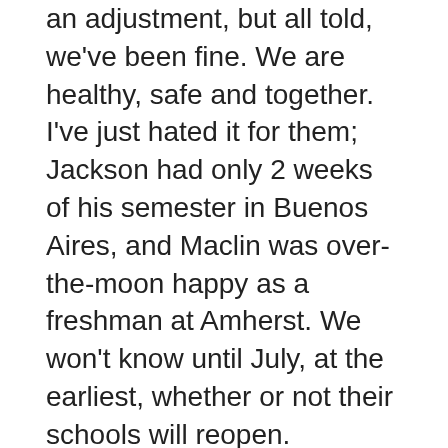an adjustment, but all told, we've been fine. We are healthy, safe and together. I've just hated it for them; Jackson had only 2 weeks of his semester in Buenos Aires, and Maclin was over-the-moon happy as a freshman at Amherst. We won't know until July, at the earliest, whether or not their schools will reopen.
We did give in to coronacrazy by adopting a puppy, despite my having vowed never to have 3 dogs again. After 2 days of heated puppy-name debate, someone just called him Dave, and we all started to laugh. So he is Dave Dog. Now that Isa has Dave to play